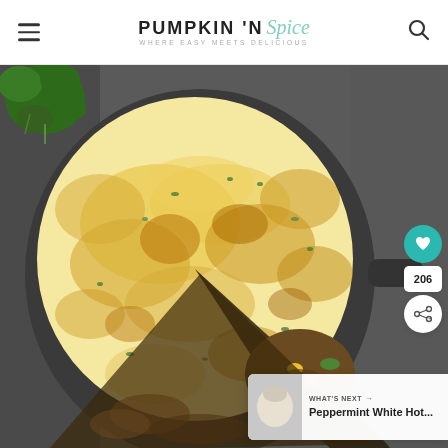PUMPKIN 'N Spice — WHERE EASY MEETS DELICIOUS
[Figure (photo): A cast iron skillet containing shepherd's pie with golden-brown, cheesy mashed potato topping garnished with fresh green herbs. A slice has been removed revealing the meat and vegetable filling underneath including carrots, corn, and green beans. Fresh parsley is visible in the top left corner.]
WHAT'S NEXT → Peppermint White Hot...